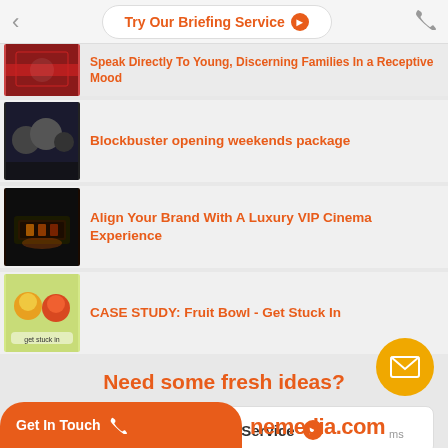Try Our Briefing Service
Speak Directly To Young, Discerning Families In a Receptive Mood
Blockbuster opening weekends package
Align Your Brand With A Luxury VIP Cinema Experience
CASE STUDY: Fruit Bowl - Get Stuck In
Need some fresh ideas?
Try our Briefing Service
Get In Touch | nemedia.com